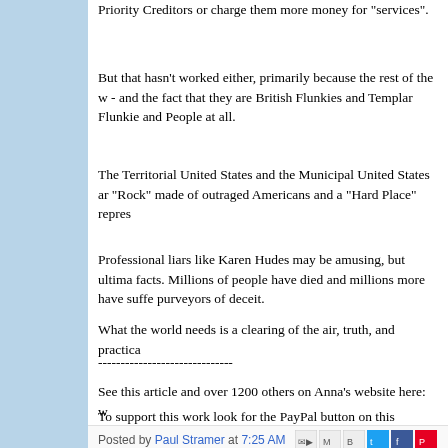Priority Creditors or charge them more money for "services".
But that hasn't worked either, primarily because the rest of the w- and the fact that they are British Flunkies and Templar Flunkieand People at all.
The Territorial United States and the Municipal United States ar"Rock" made of outraged Americans and a "Hard Place" repres
Professional liars like Karen Hudes may be amusing, but ultimafacts. Millions of people have died and millions more have suffepurveyors of deceit.
What the world needs is a clearing of the air, truth, and practica
------------------------------
See this article and over 1200 others on Anna's website here: w
To support this work look for the PayPal button on this website.
Posted by Paul Stramer at 7:25 AM
Labels: Anna von Reitz, Fat One, Karen Hudes Tries Selling Another Big